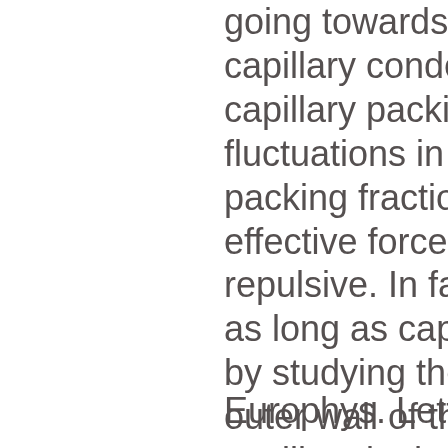going towards the capillary condensation, capillary packing fluctuations in the packing fraction of effective force between repulsive. In fact, as long as capillary by studying the diameter of outer wall of the capillary in the ac observe signs of t
Europhys. Lett. 12